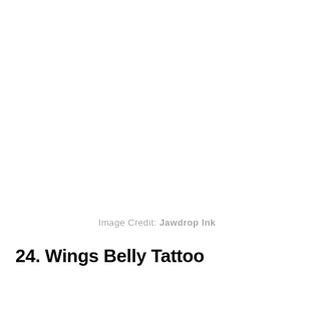Image Credit: Jawdrop Ink
24. Wings Belly Tattoo